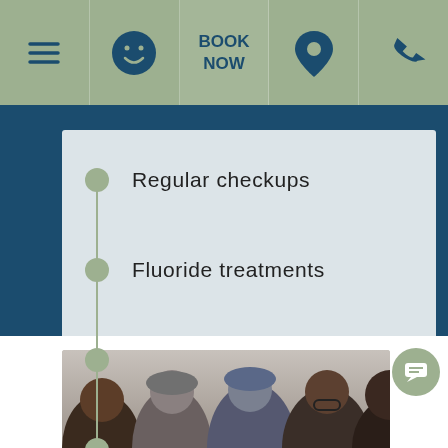[Figure (screenshot): Navigation bar with hamburger menu, smiley face icon, BOOK NOW button, location pin icon, and phone icon on sage green background]
Regular checkups
Fluoride treatments
Cleanings
Sealants
Dental hygiene instruction
[Figure (photo): Group of four children/young people photographed together, partial view at bottom of page]